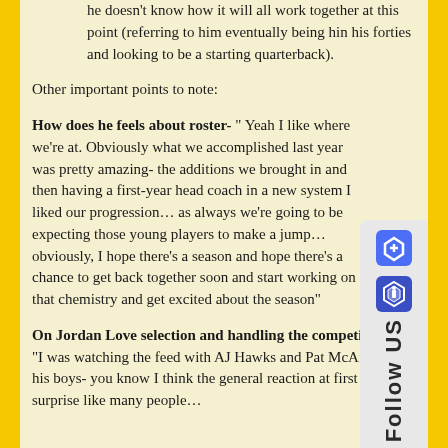he doesn't know how it will all work together at this point (referring to him eventually being hin his forties and looking to be a starting quarterback).
Other important points to note:
How does he feels about roster- " Yeah I like where we're at. Obviously what we accomplished last year was pretty amazing- the additions we brought in and then having a first-year head coach in a new system I liked our progression… as always we're going to be expecting those young players to make a jump… obviously, I hope there's a season and hope there's a chance to get back together soon and start working on that chemistry and get excited about the season"
On Jordan Love selection and handling the competition– "I was watching the feed with AJ Hawks and Pat McAfee and his boys- you know I think the general reaction at first was surprise like many people…